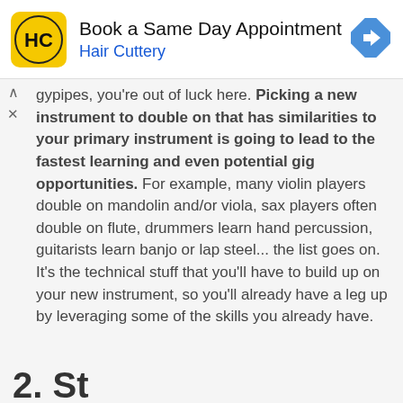[Figure (other): Hair Cuttery advertisement banner with logo, text 'Book a Same Day Appointment / Hair Cuttery', and a blue navigation arrow icon]
...gypipes, you're out of luck here. Picking a new instrument to double on that has similarities to your primary instrument is going to lead to the fastest learning and even potential gig opportunities. For example, many violin players double on mandolin and/or viola, sax players often double on flute, drummers learn hand percussion, guitarists learn banjo or lap steel... the list goes on. It's the technical stuff that you'll have to build up on your new instrument, so you'll already have a leg up by leveraging some of the skills you already have.
2. St...